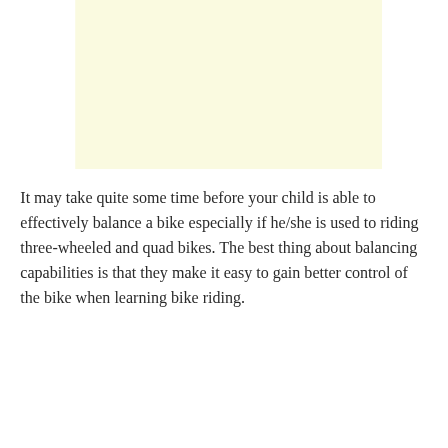[Figure (illustration): A light yellow/cream colored rectangular image placeholder area at the top of the page]
It may take quite some time before your child is able to effectively balance a bike especially if he/she is used to riding three-wheeled and quad bikes. The best thing about balancing capabilities is that they make it easy to gain better control of the bike when learning bike riding.
v